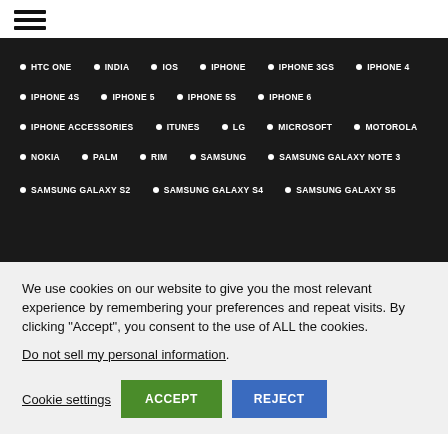[Figure (other): Hamburger menu icon (three horizontal lines)]
• HTC ONE  • INDIA  • IOS  • IPHONE  • IPHONE 3GS  • IPHONE 4
• IPHONE 4S  • IPHONE 5  • IPHONE 5S  • IPHONE 6
• IPHONE ACCESSORIES  • ITUNES  • LG  • MICROSOFT  • MOTOROLA
• NOKIA  • PALM  • RIM  • SAMSUNG  • SAMSUNG GALAXY NOTE 3
• SAMSUNG GALAXY S2  • SAMSUNG GALAXY S4  • SAMSUNG GALAXY S5
We use cookies on our website to give you the most relevant experience by remembering your preferences and repeat visits. By clicking “Accept”, you consent to the use of ALL the cookies.
Do not sell my personal information.
Cookie settings  ACCEPT  REJECT